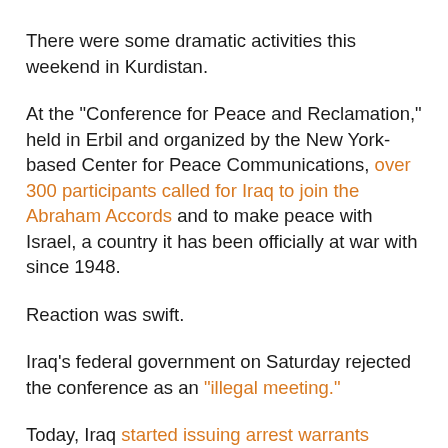There were some dramatic activities this weekend in Kurdistan.
At the "Conference for Peace and Reclamation," held in Erbil and organized by the New York-based Center for Peace Communications, over 300 participants called for Iraq to join the Abraham Accords and to make peace with Israel, a country it has been officially at war with since 1948.
Reaction was swift.
Iraq's federal government on Saturday rejected the conference as an "illegal meeting."
Today, Iraq started issuing arrest warrants against participants.
Already, one prominent participant, Wisam al Hardan, has disowned the statement he signed, claiming he didn't read it carefully - even though he had written an op-ed for the Wall Street Journal on Friday calling for Iraq to join the Abraham